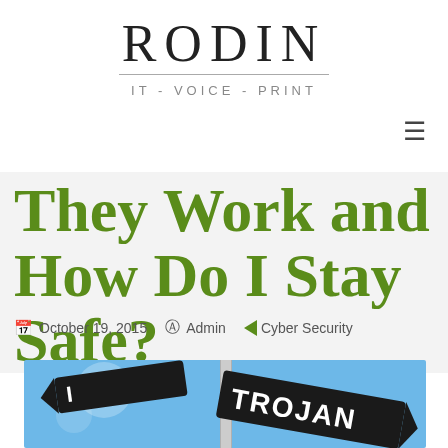RODIN
IT - VOICE - PRINT
They Work and How Do I Stay Safe?
October 19, 2015  Admin  Cyber Security
[Figure (photo): Street sign post with a sign reading TROJAN against a blue sky background]